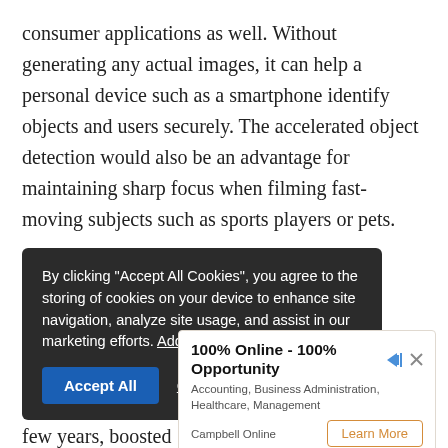consumer applications as well. Without generating any actual images, it can help a personal device such as a smartphone identify objects and users securely. The accelerated object detection would also be an advantage for maintaining sharp focus when filming fast-moving subjects such as sports players or pets. Sony is the world leader in providing image sensors for smartphones such as Apple Inc.'s iPhone and dedicated photo and video cameras from the likes of Nikon. Its sensor division has been its most reliable growth driver over the past few years, boosted by the rise of high-end smartphones. The new ... 's long-term go... icer
By clicking "Accept All Cookies", you agree to the storing of cookies on your device to enhance site navigation, analyze site usage, and assist in our marketing efforts. Additional Information
Accept All   Cookies Settings
100% Online - 100% Opportunity
Accounting, Business Administration, Healthcare, Management
Campbell Online   Learn More